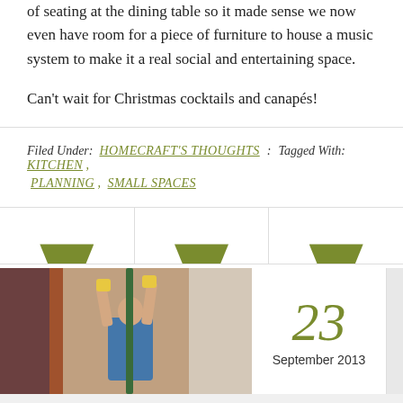of seating at the dining table so it made sense we now even have room for a piece of furniture to house a music system to make it a real social and entertaining space.
Can't wait for Christmas cocktails and canapés!
Filed Under: HOMECRAFT'S THOUGHTS : Tagged With: KITCHEN , PLANNING , SMALL SPACES
[Figure (photo): A person working on construction or renovation, viewed from behind, reaching upward. The scene shows a red wall and construction materials.]
23 September 2013